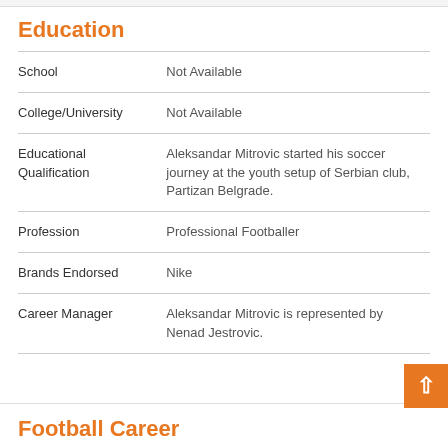Education
| Field | Value |
| --- | --- |
| School | Not Available |
| College/University | Not Available |
| Educational Qualification | Aleksandar Mitrovic started his soccer journey at the youth setup of Serbian club, Partizan Belgrade. |
| Profession | Professional Footballer |
| Brands Endorsed | Nike |
| Career Manager | Aleksandar Mitrovic is represented by Nenad Jestrovic. |
Football Career